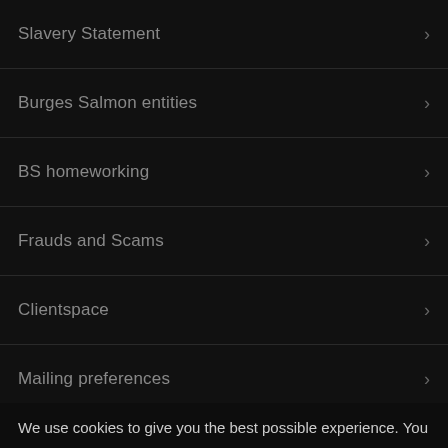Slavery Statement
Burges Salmon entities
BS homeworking
Frauds and Scams
Clientspace
Mailing preferences
We use cookies to give you the best possible experience. You